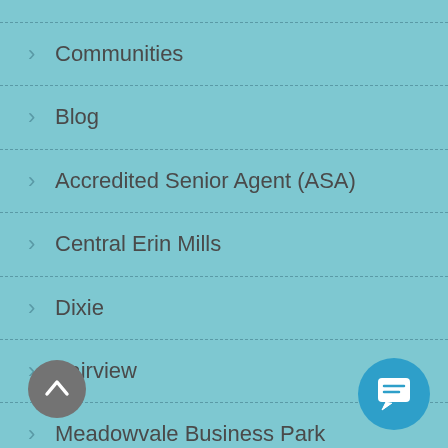› Communities
› Blog
› Accredited Senior Agent (ASA)
› Central Erin Mills
› Dixie
› Fairview
› Meadowvale Business Park
› The Suite Life